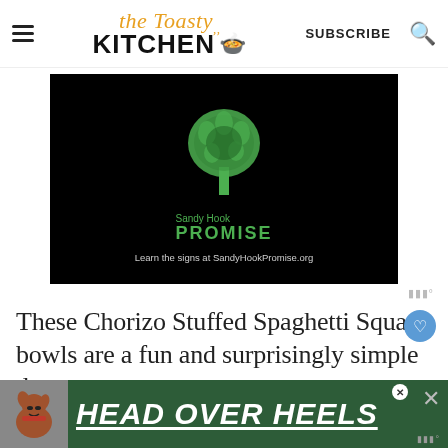the Toasty KITCHEN — SUBSCRIBE
[Figure (screenshot): Sandy Hook Promise logo on black background with tree made of handprints, text: 'Sandy Hook PROMISE' and 'Learn the signs at SandyHookPromise.org']
These Chorizo Stuffed Spaghetti Squash bowls are a fun and surprisingly simple d...
[Figure (advertisement): HEAD OVER HEELS advertisement banner with dog photo on dark green background]